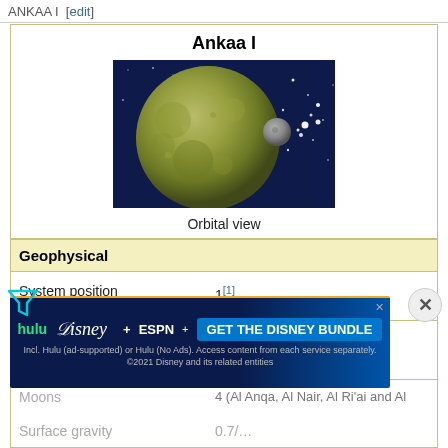ANKAA I [edit]
Ankaa I
[Figure (illustration): Orbital view of the planet Ankaa I — a large yellowish-green cratered planet with a smaller moon visible to its right, set against a deep blue starfield.]
Orbital view
| Geophysical |  |
| System position | 1[1] |
| Jump point distance | 26 days[1] |
| Moons | 4 (Al Anqa, Al Nair, Al Ri'ai and Al … |
| Surface gravity | 0.7/… |